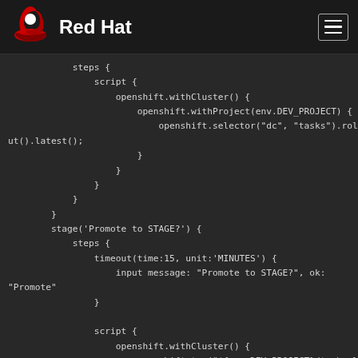Red Hat
[Figure (screenshot): Code block showing Jenkins/Groovy pipeline script with steps for rollout, Promote to STAGE stage with timeout and input, and openshift.tag command]